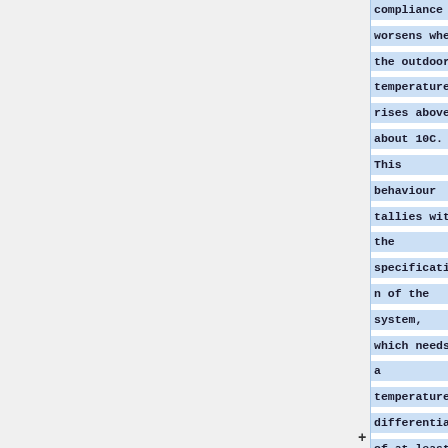compliance worsens when the outdoor temperature rises above about 10C. This behaviour tallies with the specification of the system, which needs a temperature differential of at least 8C between outdoor and indoor temperatures